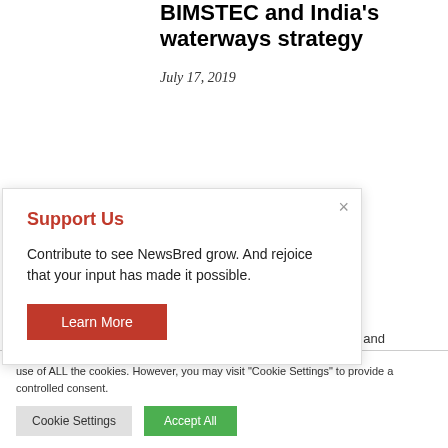BIMSTEC and India's waterways strategy
July 17, 2019
Voices
Support Us
Contribute to see NewsBred grow. And rejoice that your input has made it possible.
Learn More
use of ALL the cookies. However, you may visit "Cookie Settings" to provide a controlled consent.
Cookie Settings
Accept All